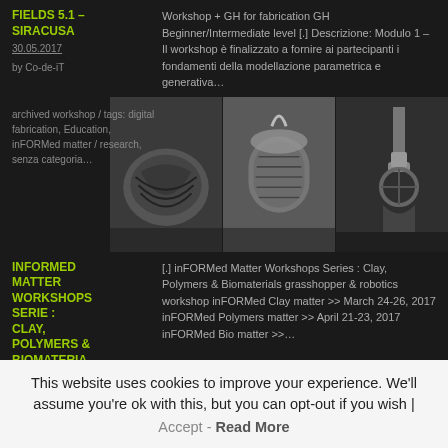FIELDS 5.1 – SIRACUSA
30.05.2017
by Co-de-iT
Workshop + GH for fabrication GH Beginner/Intermediate level [.] Descrizione: Modulo 1 – Il workshop è finalizzato a fornire ai partecipanti i fondamenti della modellazione parametrica e generativa…
archived workshop / tags: digital fabrication, Education, inFORMed matter / research, senza categoria…
[Figure (photo): Strip of three black and white photos showing 3D printed and fabricated objects/materials including textured surfaces and a robotic arm]
INFORMED MATTER WORKSHOPS SERIE : CLAY, POLYMERS & BIOMATERIA…
[.] inFORMed Matter Workshops Series : Clay, Polymers & Biomaterials grasshopper & robotics workshop inFORMed Clay matter >> March 24-26, 2017 inFORMed Polymers matter >> April 21-23, 2017 inFORMed Bio matter >>…
This website uses cookies to improve your experience. We'll assume you're ok with this, but you can opt-out if you wish | Accept - Read More